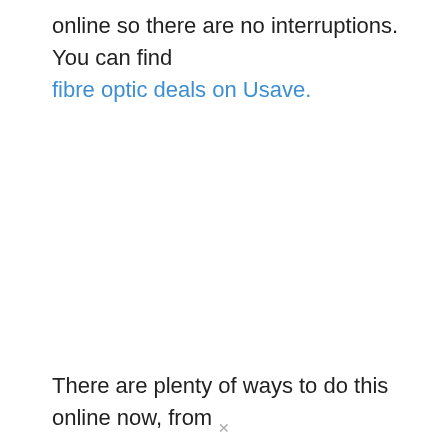online so there are no interruptions. You can find fibre optic deals on Usave.
There are plenty of ways to do this online now, from